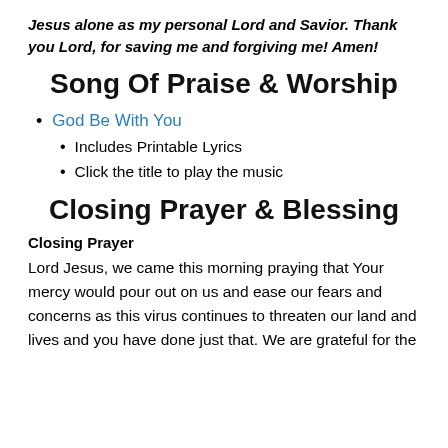Jesus alone as my personal Lord and Savior. Thank you Lord, for saving me and forgiving me! Amen!
Song Of Praise & Worship
God Be With You
Includes Printable Lyrics
Click the title to play the music
Closing Prayer & Blessing
Closing Prayer
Lord Jesus, we came this morning praying that Your mercy would pour out on us and ease our fears and concerns as this virus continues to threaten our land and lives and you have done just that. We are grateful for the